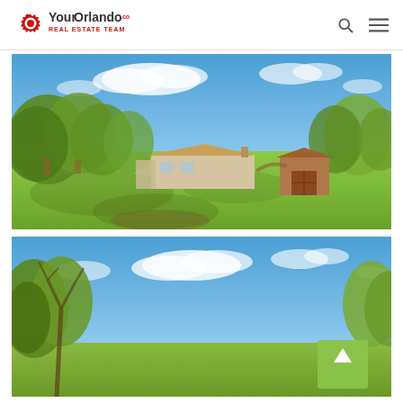YourOrlando.com Real Estate Team
[Figure (photo): Exterior photo of a ranch-style home set on a large green lawn with trees in the background and a wooden shed/barn structure to the right, under a blue sky with scattered clouds.]
[Figure (photo): Second exterior photo of the property showing trees in the foreground and blue sky with clouds, partially cropped view.]